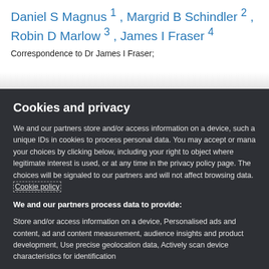Daniel S Magnus 1 , Margrid B Schindler 2 , Robin D Marlow 3 , James I Fraser 4
Correspondence to Dr James I Fraser;
Cookies and privacy
We and our partners store and/or access information on a device, such as unique IDs in cookies to process personal data. You may accept or manage your choices by clicking below, including your right to object where legitimate interest is used, or at any time in the privacy policy page. These choices will be signaled to our partners and will not affect browsing data. Cookie policy
We and our partners process data to provide:
Store and/or access information on a device, Personalised ads and content, ad and content measurement, audience insights and product development, Use precise geolocation data, Actively scan device characteristics for identification
List of Partners (vendors)
I Accept